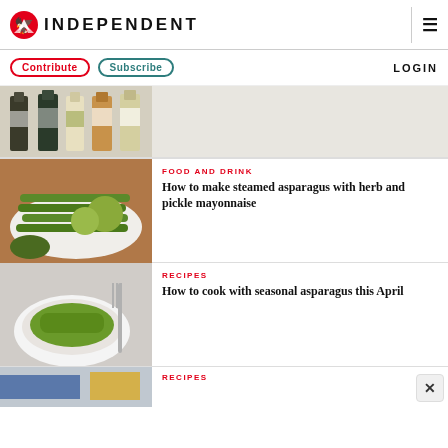INDEPENDENT
Contribute  Subscribe  LOGIN
[Figure (photo): Five wine bottles lined up against a light background]
FOOD AND DRINK
How to make steamed asparagus with herb and pickle mayonnaise
[Figure (photo): Steamed asparagus with herb balls on a white plate, with a small green dip bowl]
RECIPES
How to cook with seasonal asparagus this April
[Figure (photo): A bowl of green asparagus salad with a fork on the side]
RECIPES
[Figure (photo): Partial view of a blue and yellow dish]